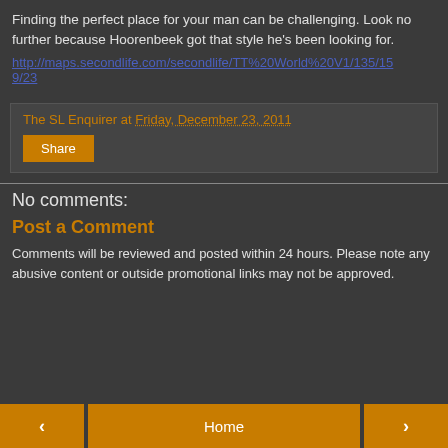Finding the perfect place for your man can be challenging. Look no further because Hoorenbeek got that style he's been looking for.
http://maps.secondlife.com/secondlife/TT%20World%20V1/135/159/23
The SL Enquirer at Friday, December 23, 2011
Share
No comments:
Post a Comment
Comments will be reviewed and posted within 24 hours. Please note any abusive content or outside promotional links may not be approved.
< | Home | >